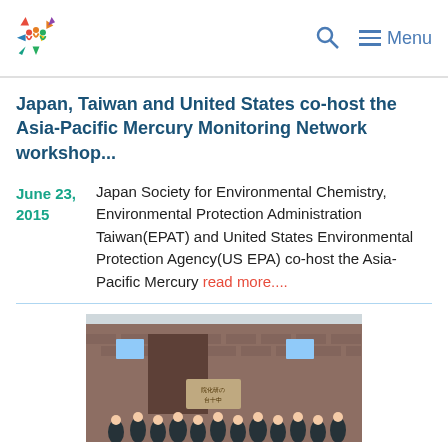Logo | Search | Menu
Japan, Taiwan and United States co-host the Asia-Pacific Mercury Monitoring Network workshop...
June 23, 2015 — Japan Society for Environmental Chemistry, Environmental Protection Administration Taiwan(EPAT) and United States Environmental Protection Agency(US EPA) co-host the Asia-Pacific Mercury read more....
[Figure (photo): Group photo of attendees outside a brick building with Asian signage, related to Asia-Pacific Mercury Monitoring Network workshop.]